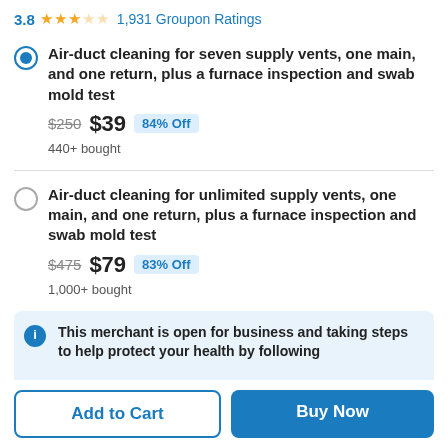3.8 ★★★☆☆ 1,931 Groupon Ratings
Air-duct cleaning for seven supply vents, one main, and one return, plus a furnace inspection and swab mold test — $250 $39 84% Off — 440+ bought
Air-duct cleaning for unlimited supply vents, one main, and one return, plus a furnace inspection and swab mold test — $475 $79 83% Off — 1,000+ bought
This merchant is open for business and taking steps to help protect your health by following...
Add to Cart
Buy Now